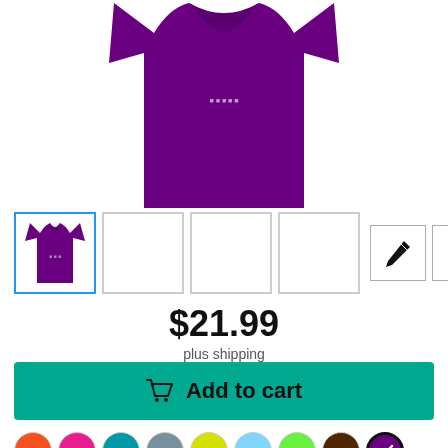[Figure (photo): Purple t-shirt product image shown as a cropped view of the upper chest/shoulder area of the shirt]
[Figure (other): Row of product thumbnail images: first is selected purple t-shirt thumbnail with blue border, next three are empty white squares, then a pencil/edit icon button and a checkmark/dropdown icon button]
$21.99
plus shipping
Add to cart
[Figure (other): Row of color swatches: orange, hot pink, teal/blue, gray, yellow, light blue, green, brown, and purple (selected with checkmark)]